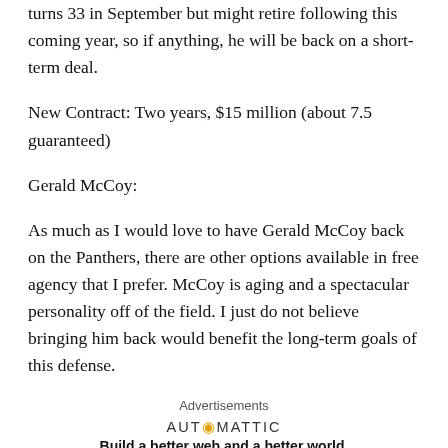turns 33 in September but might retire following this coming year, so if anything, he will be back on a short-term deal.
New Contract: Two years, $15 million (about 7.5 guaranteed)
Gerald McCoy:
As much as I would love to have Gerald McCoy back on the Panthers, there are other options available in free agency that I prefer. McCoy is aging and a spectacular personality off of the field. I just do not believe bringing him back would benefit the long-term goals of this defense.
Advertisements
[Figure (other): Automattic advertisement: Build a better web and a better world.]
REPORT THIS AD
Gerald McCoy walks